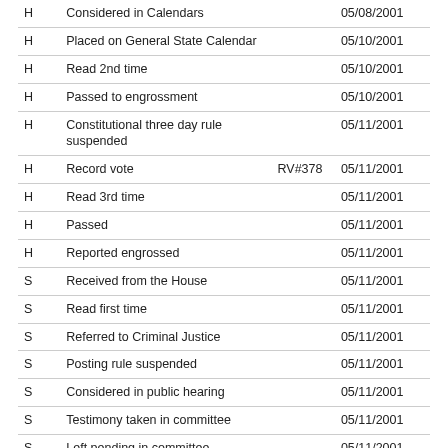|  | Action | Vote | Date |
| --- | --- | --- | --- |
| H | Considered in Calendars |  | 05/08/2001 |
| H | Placed on General State Calendar |  | 05/10/2001 |
| H | Read 2nd time |  | 05/10/2001 |
| H | Passed to engrossment |  | 05/10/2001 |
| H | Constitutional three day rule suspended |  | 05/11/2001 |
| H | Record vote | RV#378 | 05/11/2001 |
| H | Read 3rd time |  | 05/11/2001 |
| H | Passed |  | 05/11/2001 |
| H | Reported engrossed |  | 05/11/2001 |
| S | Received from the House |  | 05/11/2001 |
| S | Read first time |  | 05/11/2001 |
| S | Referred to Criminal Justice |  | 05/11/2001 |
| S | Posting rule suspended |  | 05/11/2001 |
| S | Considered in public hearing |  | 05/11/2001 |
| S | Testimony taken in committee |  | 05/11/2001 |
| S | Left pending in committee |  | 05/11/2001 |